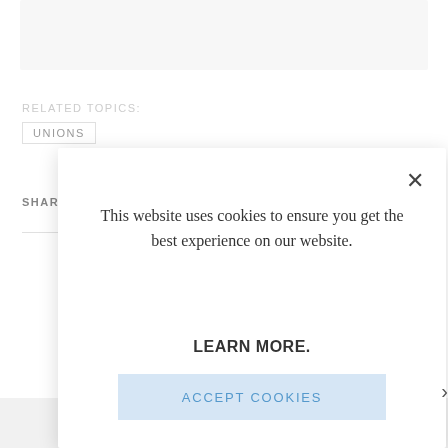[Figure (screenshot): Gray placeholder box at the top of the page]
RELATED TOPICS:
UNIONS
SHARE
[Figure (screenshot): Cookie consent modal dialog with close button (×), message 'This website uses cookies to ensure you get the best experience on our website.', 'LEARN MORE.' link text, and 'ACCEPT COOKIES' button]